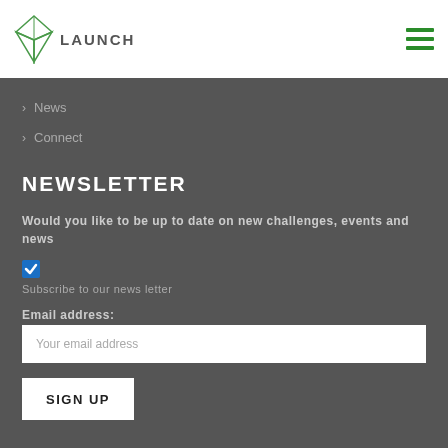LAUNCH
News
Connect
NEWSLETTER
Would you like to be up to date on new challenges, events and news
Subscribe to our news letter
Email address:
Your email address
SIGN UP